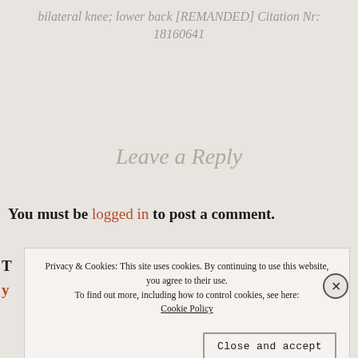bilateral knee; lower back [REMANDED] Citation Nr: 18160641
Leave a Reply
You must be logged in to post a comment.
Privacy & Cookies: This site uses cookies. By continuing to use this website, you agree to their use. To find out more, including how to control cookies, see here: Cookie Policy
Close and accept